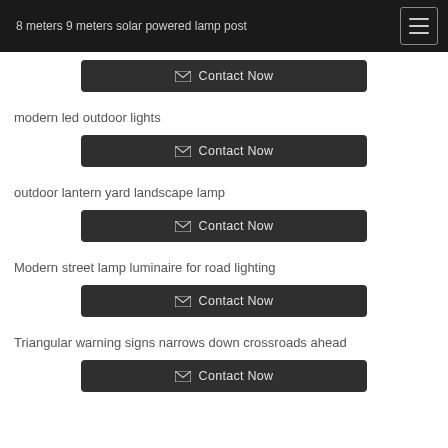8 meters 9 meters solar powered lamp post
Contact Now
modern led outdoor lights
Contact Now
outdoor lantern yard landscape lamp
Contact Now
Modern street lamp luminaire for road lighting
Contact Now
Triangular warning signs narrows down crossroads ahead
Contact Now